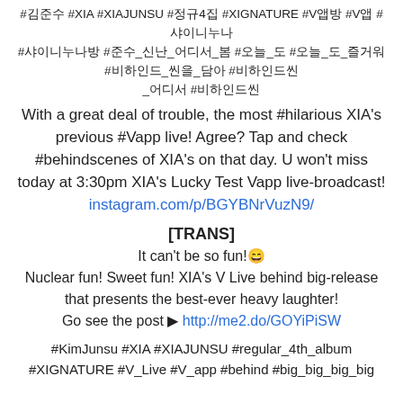#김준수 #XIA #XIAJUNSU #정규4집 #XIGNATURE #V앱방 #V앱 #샤이니누나 #샤이니누나방 #준수_신난_어디서_봄 #오늘_도 #오늘_도_즐거워 #비하인드_씬을_담아 #비하인드씬_어디
With a great deal of trouble, the most #hilarious XIA's previous #Vapp live! Agree? Tap and check #behindscenes of XIA's on that day. U won't miss today at 3:30pm XIA's Lucky Test Vapp live-broadcast! instagram.com/p/BGYBNrVuzN9/
[TRANS]
It can't be so fun!😄
Nuclear fun! Sweet fun! XIA's V Live behind big-release that presents the best-ever heavy laughter!
Go see the post ▶ http://me2.do/GOYiPiSW
#KimJunsu #XIA #XIAJUNSU #regular_4th_album #XIGNATURE #V_Live #V_app #behind #big_big_big_big